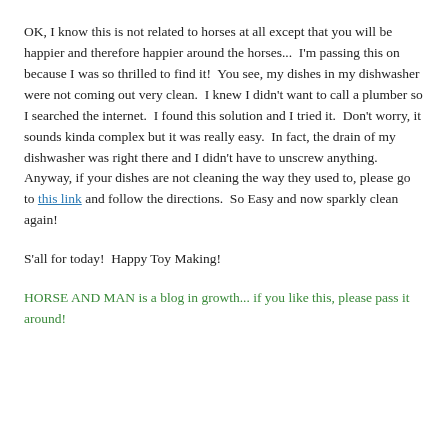OK, I know this is not related to horses at all except that you will be happier and therefore happier around the horses...  I'm passing this on because I was so thrilled to find it!  You see, my dishes in my dishwasher were not coming out very clean.  I knew I didn't want to call a plumber so I searched the internet.  I found this solution and I tried it.  Don't worry, it sounds kinda complex but it was really easy.  In fact, the drain of my dishwasher was right there and I didn't have to unscrew anything.  Anyway, if your dishes are not cleaning the way they used to, please go to this link and follow the directions.  So Easy and now sparkly clean again!
S'all for today!  Happy Toy Making!
HORSE AND MAN is a blog in growth... if you like this, please pass it around!